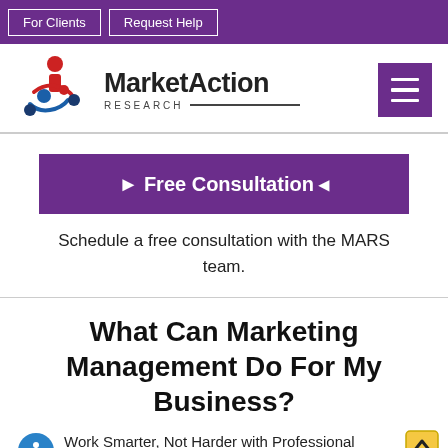For Clients | Request Help
[Figure (logo): MarketAction Research logo with stylized figure graphic]
▶ Free Consultation ◀
Schedule a free consultation with the MARS team.
What Can Marketing Management Do For My Business?
Work Smarter, Not Harder with Professional